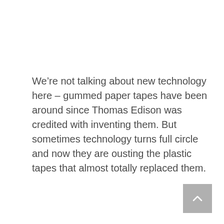We’re not talking about new technology here – gummed paper tapes have been around since Thomas Edison was credited with inventing them. But sometimes technology turns full circle and now they are ousting the plastic tapes that almost totally replaced them.
[Figure (other): A grey scroll-to-top button with an upward-pointing chevron arrow, positioned in the bottom-right corner of the page.]